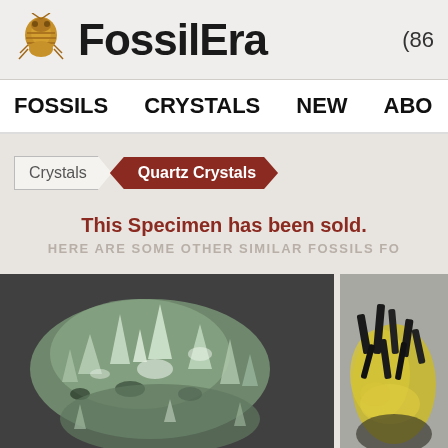FossilEra (86...
FOSSILS   CRYSTALS   NEW   ABO...
Crystals > Quartz Crystals
This Specimen has been sold.
HERE ARE SOME OTHER SIMILAR FOSSILS FO...
[Figure (photo): Green quartz crystal cluster specimen on dark background]
[Figure (photo): Dark mineral specimen with yellow matrix on grey background]